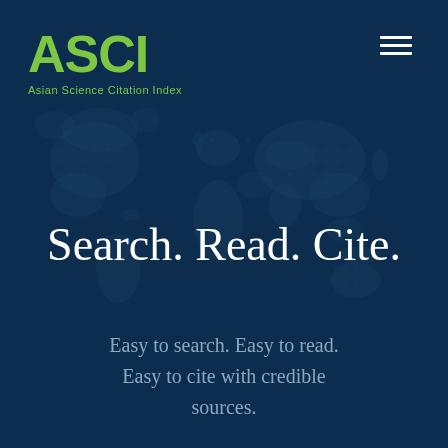[Figure (logo): ASCI - Asian Science Citation Index logo with green lettering on dark blue background]
Search. Read. Cite.
Easy to search. Easy to read. Easy to cite with credible sources.